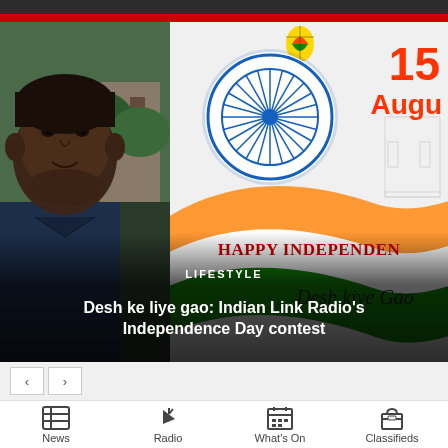[Figure (screenshot): Mobile app screenshot showing an article preview. Left half shows a man's face (selfie). Right half shows an Indian Independence Day graphic with Ashoka Chakra, '15 August' in red, Indian flag ribbon design, 'HAPPY INDEPENDENCE' text, and a hot air balloon. Overlay text at bottom reads 'LIFESTYLE' and article title 'Desh ke liye gao: Indian Link Radio's Independence Day contest'. Bottom navigation bar with News, Radio, What's On, Classifieds tabs.]
LIFESTYLE
Desh ke liye gao: Indian Link Radio’s Independence Day contest
News  Radio  What’s On  Classifieds